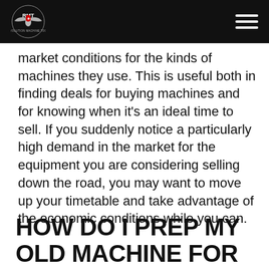RMT Revolution Machine Tools logo and navigation
market conditions for the kinds of machines they use. This is useful both in finding deals for buying machines and for knowing when it's an ideal time to sell. If you suddenly notice a particularly high demand in the market for the equipment you are considering selling down the road, you may want to move up your timetable and take advantage of the economic conditions while you can.
HOW DO I PREP MY OLD MACHINE FOR